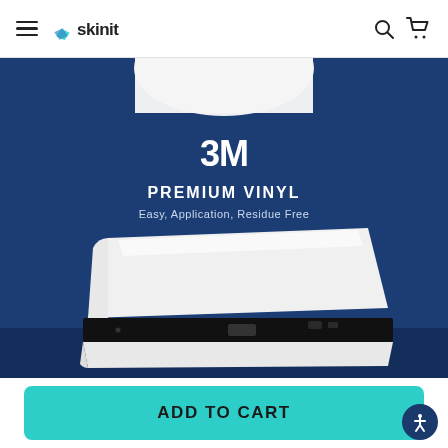Skinit navigation bar with hamburger menu, Skinit logo, search icon, and cart icon
[Figure (photo): Skinit product page showing a PS4 Slim console with a white 3M Premium Vinyl skin applied. The background is dark navy blue. Text overlay reads '3M PREMIUM VINYL – Easy, Application, Residue Free'. The console is shown from the side with the white skin cover on top and a black base.]
ADD TO CART